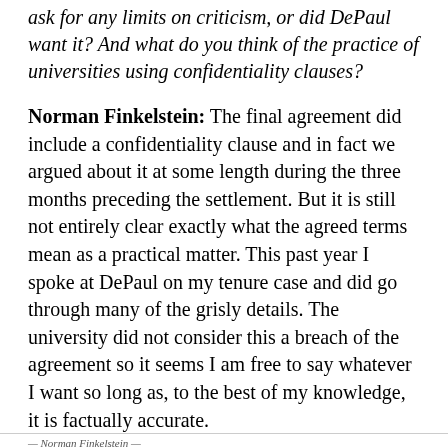ask for any limits on criticism, or did DePaul want it? And what do you think of the practice of universities using confidentiality clauses?
Norman Finkelstein: The final agreement did include a confidentiality clause and in fact we argued about it at some length during the three months preceding the settlement. But it is still not entirely clear exactly what the agreed terms mean as a practical matter. This past year I spoke at DePaul on my tenure case and did go through many of the grisly details. The university did not consider this a breach of the agreement so it seems I am free to say whatever I want so long as, to the best of my knowledge, it is factually accurate.
— Norman Finkelstein —